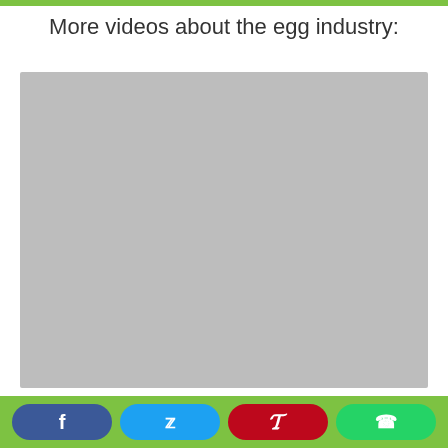More videos about the egg industry:
[Figure (other): Gray placeholder rectangle representing an embedded video player]
Social share buttons: Facebook, Twitter, Pinterest, WhatsApp